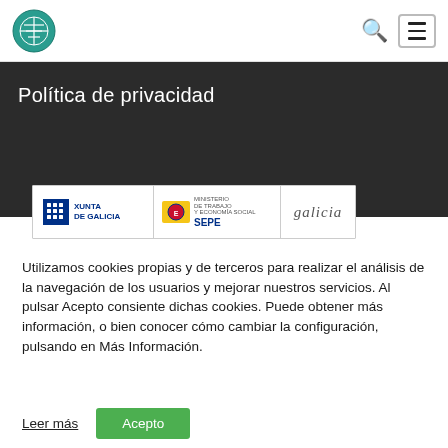Política de privacidad
[Figure (logo): Logos strip showing Xunta de Galicia, Ministerio de Trabajo y Economía Social SEPE, and Galicia brand]
Utilizamos cookies propias y de terceros para realizar el análisis de la navegación de los usuarios y mejorar nuestros servicios. Al pulsar Acepto consiente dichas cookies. Puede obtener más información, o bien conocer cómo cambiar la configuración, pulsando en Más Información.
Leer más
Acepto